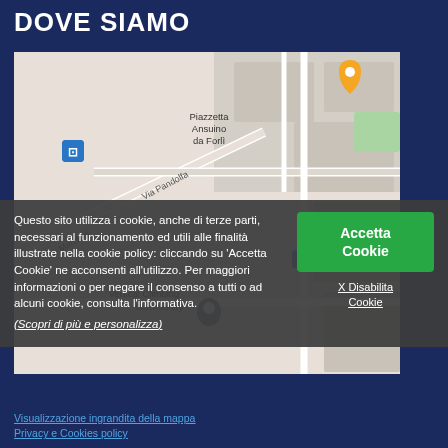DOVE SIAMO
[Figure (map): Google Maps view showing Piazzetta Ansuino da Forlì, Via Pandolfa, Vertical Climbing Community location marker, bus stop icon, orange location pin, and partial street names including P.G. Marchini and Ruf Di Ru]
Questo sito utilizza i cookie, anche di terze parti, necessari al funzionamento ed utili alle finalità illustrate nella cookie policy: cliccando su 'Accetta Cookie' ne acconsenti all'utilizzo. Per maggiori informazioni o per negare il consenso a tutti o ad alcuni cookie, consulta l'informativa.
(Scopri di più e personalizza)
Accetta Cookie
X Disabilita Cookie
Visualizzazione ingrandita della mappa
Privacy e Cookies policy